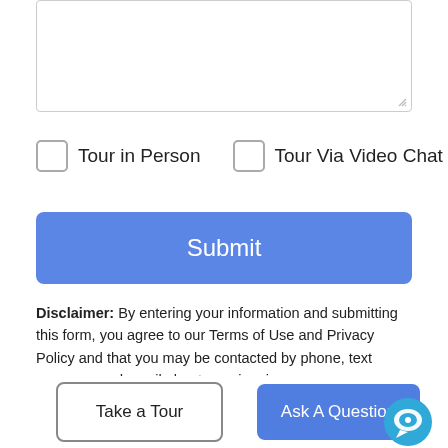[Figure (screenshot): Empty textarea input box with resize handle in bottom right corner]
Tour in Person
Tour Via Video Chat
Submit
Disclaimer: By entering your information and submitting this form, you agree to our Terms of Use and Privacy Policy and that you may be contacted by phone, text message and email about your inquiry.
Based on information from California Regional Multiple Listing Service, Inc. as of 2022-08-30T12:55:07.207. This information is for your personal, non-commercial use and may not be used for any purpose other than to identify prospective properties you may be interested in purchasing. Display of MLS data is deemed reliable but is not guaranteed accurate by the MLS or Berkshire
Take a Tour
Ask A Question